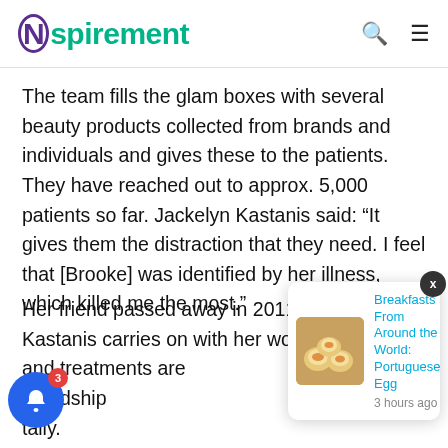Nspirement
The team fills the glam boxes with several beauty products collected from brands and individuals and gives these to the patients. They have reached out to approx. 5,000 patients so far. Jackelyn Kastanis said: “It gives them the distraction that they need. I feel that [Brooke] was identified by her illness, which killed me the most.”
Her friend passed away in 2011, but Jackelyn Kastanis carries on with her work. Medicine and treatments are [obscured] friendship [obscured] tally.
[Figure (screenshot): Notification popup showing 'Breakfasts From Around the World: Portuguese Egg' posted 3 hours ago, with a thumbnail image of egg tarts, and a close button. A blue bell notification button with badge '3' is in the bottom left.]